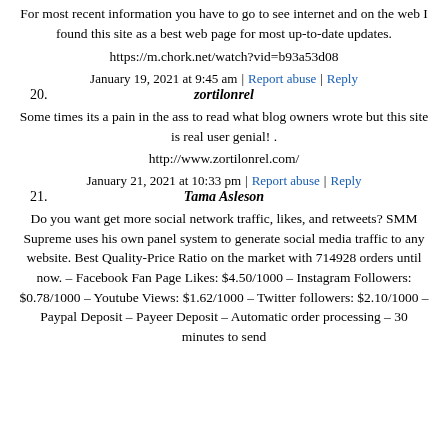For most recent information you have to go to see internet and on the web I found this site as a best web page for most up-to-date updates.
https://m.chork.net/watch?vid=b93a53d08
January 19, 2021 at 9:45 am | Report abuse | Reply
20. zortilonrel
Some times its a pain in the ass to read what blog owners wrote but this site is real user genial! .
http://www.zortilonrel.com/
January 21, 2021 at 10:33 pm | Report abuse | Reply
21. Tama Asleson
Do you want get more social network traffic, likes, and retweets? SMM Supreme uses his own panel system to generate social media traffic to any website. Best Quality-Price Ratio on the market with 714928 orders until now. – Facebook Fan Page Likes: $4.50/1000 – Instagram Followers: $0.78/1000 – Youtube Views: $1.62/1000 – Twitter followers: $2.10/1000 – Paypal Deposit – Payeer Deposit – Automatic order processing – 30 minutes to send